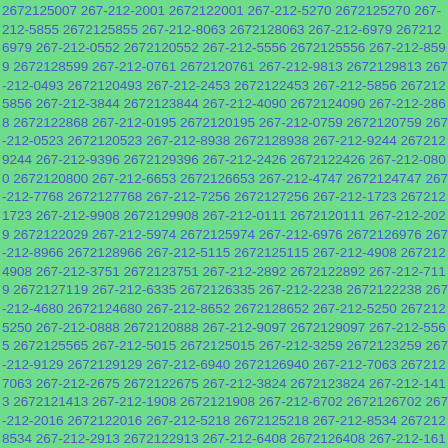2672125007 267-212-2001 2672122001 267-212-5270 2672125270 267-212-5855 2672125855 267-212-8063 2672128063 267-212-6979 2672126979 267-212-0552 2672120552 267-212-5556 2672125556 267-212-8599 2672128599 267-212-0761 2672120761 267-212-9813 2672129813 267-212-0493 2672120493 267-212-2453 2672122453 267-212-5856 2672125856 267-212-3844 2672123844 267-212-4090 2672124090 267-212-2868 2672122868 267-212-0195 2672120195 267-212-0759 2672120759 267-212-0523 2672120523 267-212-8938 2672128938 267-212-9244 2672129244 267-212-9396 2672129396 267-212-2426 2672122426 267-212-0800 2672120800 267-212-6653 2672126653 267-212-4747 2672124747 267-212-7768 2672127768 267-212-7256 2672127256 267-212-1723 2672121723 267-212-9908 2672129908 267-212-0111 2672120111 267-212-2029 2672122029 267-212-5974 2672125974 267-212-6976 2672126976 267-212-8966 2672128966 267-212-5115 2672125115 267-212-4908 2672124908 267-212-3751 2672123751 267-212-2892 2672122892 267-212-7119 2672127119 267-212-6335 2672126335 267-212-2238 2672122238 267-212-4680 2672124680 267-212-8652 2672128652 267-212-5250 2672125250 267-212-0888 2672120888 267-212-9097 2672129097 267-212-5565 2672125565 267-212-5015 2672125015 267-212-3259 2672123259 267-212-9129 2672129129 267-212-6940 2672126940 267-212-7063 2672127063 267-212-2675 2672122675 267-212-3824 2672123824 267-212-1413 2672121413 267-212-1908 2672121908 267-212-6702 2672126702 267-212-2016 2672122016 267-212-5218 2672125218 267-212-8534 2672128534 267-212-2913 2672122913 267-212-6408 2672126408 267-212-1618 2672121618 267-212-